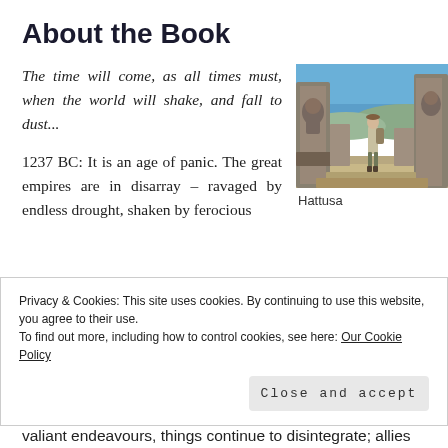About the Book
The time will come, as all times must, when the world will shake, and fall to dust...
[Figure (photo): Photo of ancient stone lion gate at Hattusa with a person standing between large carved stone pillars under a blue sky]
Hattusa
1237 BC: It is an age of panic. The great empires are in disarray – ravaged by endless drought, shaken by ferocious
Privacy & Cookies: This site uses cookies. By continuing to use this website, you agree to their use.
To find out more, including how to control cookies, see here: Our Cookie Policy
Close and accept
valiant endeavours, things continue to disintegrate; allies